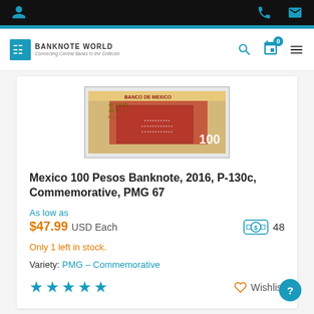Banknote World — Connecting Central Banks to the Collector
[Figure (photo): Mexico 100 Pesos banknote image showing BANCO DE MEXICO text and red/gold design with group portrait]
Mexico 100 Pesos Banknote, 2016, P-130c, Commemorative, PMG 67
As low as
$47.99 USD Each   48
Only 1 left in stock.
Variety: PMG – Commemorative
★★★★★   Wishlist